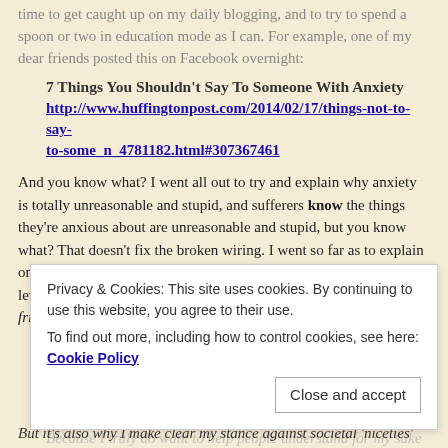time to get caught up on my daily blogging, and to try to spend a spoon or two in education mode as I can. For example, one of my dear friends posted this on Facebook overnight:
7 Things You Shouldn't Say To Someone With Anxiety
http://www.huffingtonpost.com/2014/02/17/things-not-to-say-to-some_n_4781182.html#307367461
And you know what? I went all out to try and explain why anxiety is totally unreasonable and stupid, and sufferers know the things they're anxious about are unreasonable and stupid, but you know what? That doesn't fix the broken wiring. I went so far as to explain one set of circumstances that pushes my anxiety to pretty suicidal levels, and I'll share that here too (and if you're also one of my LJ friends AND FB friends, sorry for all the repeat today, hee hee):
'I am both blessed and cursed with a severe aversion to lying. I
Privacy & Cookies: This site uses cookies. By continuing to use this website, you agree to their use.
To find out more, including how to control cookies, see here: Cookie Policy
But it's also why I make clear my stance against societal 'niceties'